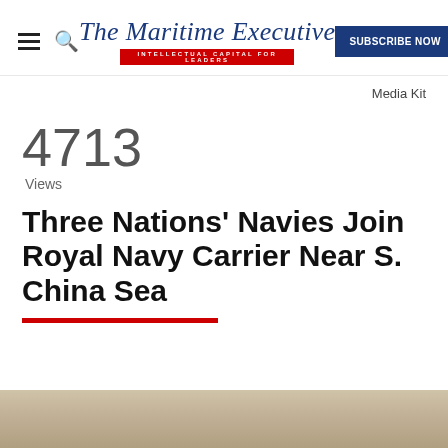The Maritime Executive — INTELLECTUAL CAPITAL FOR LEADERS | SUBSCRIBE NOW | Media Kit
4713
Views
Three Nations' Navies Join Royal Navy Carrier Near S. China Sea
[Figure (photo): Partial view of a naval vessel or military scene, cropped at bottom of page]